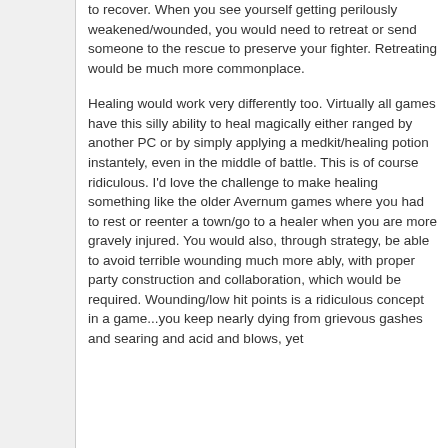to recover. When you see yourself getting perilously weakened/wounded, you would need to retreat or send someone to the rescue to preserve your fighter. Retreating would be much more commonplace.
Healing would work very differently too. Virtually all games have this silly ability to heal magically either ranged by another PC or by simply applying a medkit/healing potion instantely, even in the middle of battle. This is of course ridiculous. I'd love the challenge to make healing something like the older Avernum games where you had to rest or reenter a town/go to a healer when you are more gravely injured. You would also, through strategy, be able to avoid terrible wounding much more ably, with proper party construction and collaboration, which would be required. Wounding/low hit points is a ridiculous concept in a game...you keep nearly dying from grievous gashes and searing and acid and blows, yet